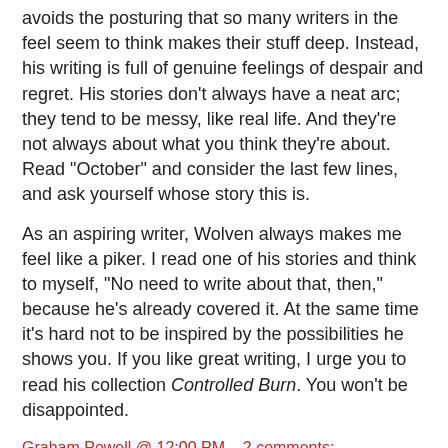avoids the posturing that so many writers in the feel seem to think makes their stuff deep. Instead, his writing is full of genuine feelings of despair and regret. His stories don't always have a neat arc; they tend to be messy, like real life. And they're not always about what you think they're about. Read "October" and consider the last few lines, and ask yourself whose story this is.
As an aspiring writer, Wolven always makes me feel like a piker. I read one of his stories and think to myself, "No need to write about that, then," because he's already covered it. At the same time it's hard not to be inspired by the possibilities he shows you. If you like great writing, I urge you to read his collection Controlled Burn. You won't be disappointed.
Graham Powell @ 12:00 PM   2 comments:
Share
Tuesday, September 25, 2007
"Freddie Prinze is My Guardian Angel" by Liz